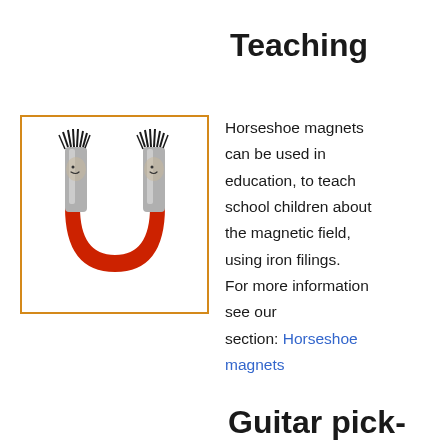Teaching
[Figure (illustration): Cartoon horseshoe magnet with smiley face characters at the tips, red U-shaped base, in an orange-bordered box]
Horseshoe magnets can be used in education, to teach school children about the magnetic field, using iron filings. For more information see our section: Horseshoe magnets
Guitar pick-